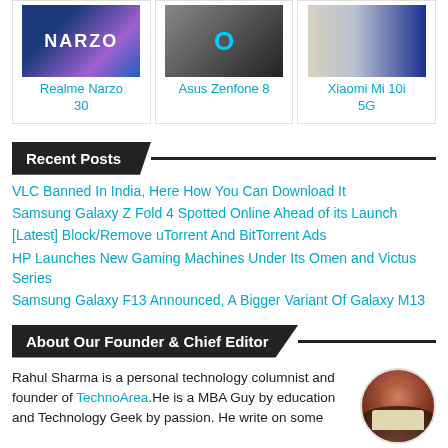[Figure (photo): Three phone product cards: Realme Narzo 30, Asus Zenfone 8, Xiaomi Mi 10i 5G]
Recent Posts
VLC Banned In India, Here How You Can Download It
Samsung Galaxy Z Fold 4 Spotted Online Ahead of its Launch
[Latest] Block/Remove uTorrent And BitTorrent Ads
HP Launches New Gaming Machines Under Its Omen and Victus Series
Samsung Galaxy F13 Announced, A Bigger Variant Of Galaxy M13
About Our Founder & Chief Editor
Rahul Sharma is a personal technology columnist and founder of TechnoArea.He is a MBA Guy by education and Technology Geek by passion. He write on some